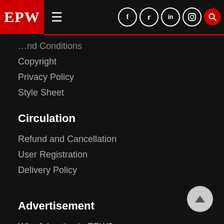EPW — Navigation header with social icons (Facebook, Twitter, LinkedIn, Instagram, Search)
…and Conditions
Copyright
Privacy Policy
Style Sheet
Circulation
Refund and Cancellation
User Registration
Delivery Policy
Advertisement
Why Advertise in EPW?
Advertisement Tariffs